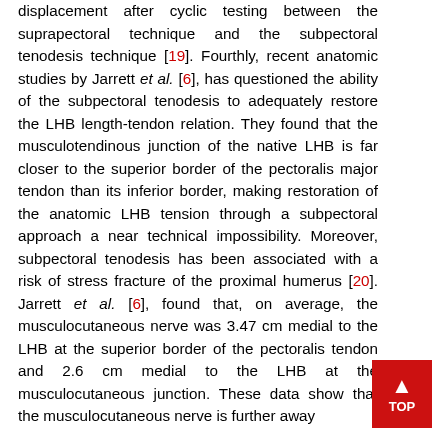displacement after cyclic testing between the suprapectoral technique and the subpectoral tenodesis technique [19]. Fourthly, recent anatomic studies by Jarrett et al. [6], has questioned the ability of the subpectoral tenodesis to adequately restore the LHB length-tendon relation. They found that the musculotendinous junction of the native LHB is far closer to the superior border of the pectoralis major tendon than its inferior border, making restoration of the anatomic LHB tension through a subpectoral approach a near technical impossibility. Moreover, subpectoral tenodesis has been associated with a risk of stress fracture of the proximal humerus [20]. Jarrett et al. [6], found that, on average, the musculocutaneous nerve was 3.47 cm medial to the LHB at the superior border of the pectoralis tendon and 2.6 cm medial to the LHB at the musculocutaneous junction. These data show that the musculocutaneous nerve is further away
[Figure (other): Red 'TOP' button with upward arrow for navigating to top of page]